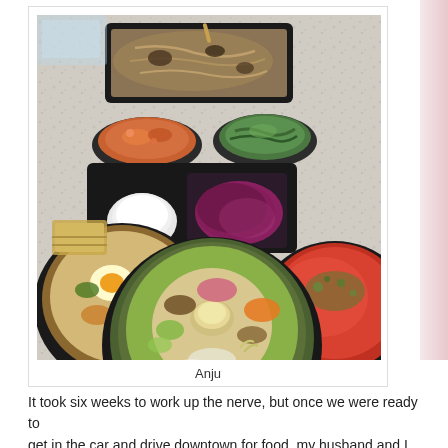[Figure (photo): Overhead photo of multiple Korean food takeout containers arranged on a speckled granite countertop. Containers include rectangular black trays with various dishes, round black bowls with bibimbap-style rice dish and a sauce dish, and a red-sauced dish.]
Anju
It took six weeks to work up the nerve, but once we were ready to get in the car and drive downtown for food, my husband and I